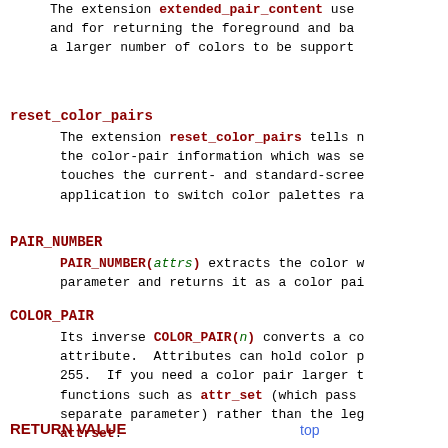The extension extended_pair_content use and for returning the foreground and ba a larger number of colors to be support
reset_color_pairs
The extension reset_color_pairs tells n the color-pair information which was se touches the current- and standard-scree application to switch color palettes ra
PAIR_NUMBER
PAIR_NUMBER(attrs) extracts the color w parameter and returns it as a color pai
COLOR_PAIR
Its inverse COLOR_PAIR(n) converts a co attribute. Attributes can hold color p 255. If you need a color pair larger t functions such as attr_set (which pass separate parameter) rather than the leg attrset.
RETURN VALUE
top